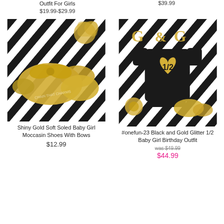Outfit For Girls
$19.99-$29.99
$39.99
[Figure (photo): Shiny gold soft soled baby moccasin shoes with bows on a black and white striped background with gold accessories]
[Figure (photo): #onefun-23 Black and Gold Glitter 1/2 Baby Girl Birthday Outfit onesie on a black and white striped background with gold letter decorations]
Shiny Gold Soft Soled Baby Girl Moccasin Shoes With Bows
$12.99
#onefun-23 Black and Gold Glitter 1/2 Baby Girl Birthday Outfit
was $49.99
$44.99